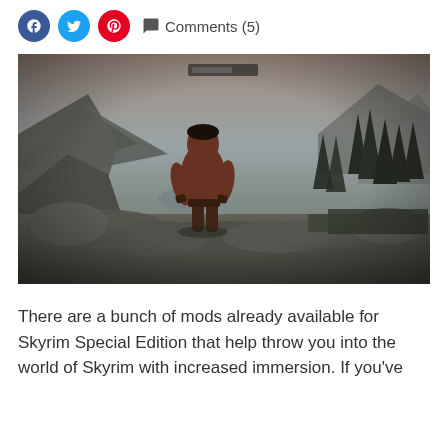Comments (5)
[Figure (screenshot): Screenshot from Skyrim Special Edition showing a shirtless male character standing on rocky terrain in a mountainous forest environment with pine trees and cloudy sky.]
There are a bunch of mods already available for Skyrim Special Edition that help throw you into the world of Skyrim with increased immersion. If you've